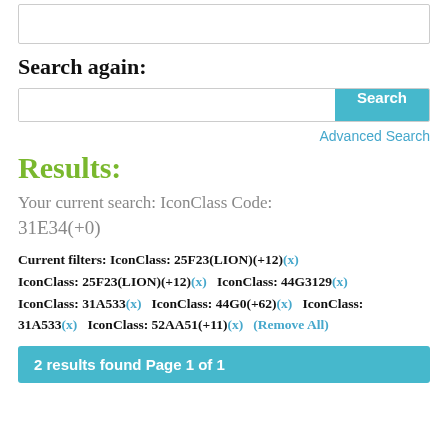[Figure (screenshot): Top partial search box/input area]
Search again:
[Figure (screenshot): Search input bar with Search button]
Advanced Search
Results:
Your current search: IconClass Code: 31E34(+0)
Current filters: IconClass: 25F23(LION)(+12)(x) IconClass: 25F23(LION)(+12)(x)   IconClass: 44G3129(x) IconClass: 31A533(x)   IconClass: 44G0(+62)(x)   IconClass: 31A533(x)   IconClass: 52AA51(+11)(x)   (Remove All)
2 results found Page 1 of 1